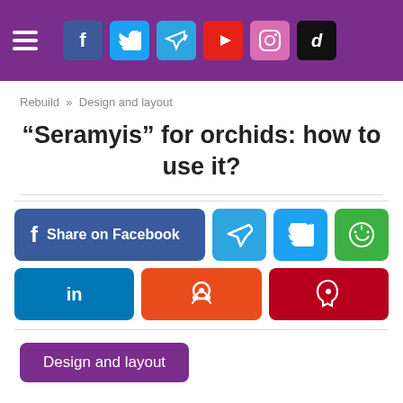Header bar with hamburger menu and social icons: Facebook, Twitter, Telegram, YouTube, Instagram, TikTok
Rebuild » Design and layout
“Seramyis” for orchids: how to use it?
[Figure (infographic): Social media share buttons: Share on Facebook, Telegram, Twitter, WhatsApp (row 1); LinkedIn, Reddit, Pinterest (row 2)]
Design and layout